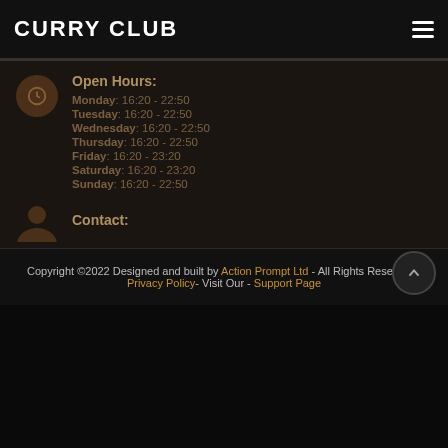CURRY CLUB
Open Hours:
Monday: 16:20 - 22:50
Tuesday: 16:20 - 22:50
Wednesday: 16:20 - 22:50
Thursday: 16:20 - 22:50
Friday: 16:20 - 23:20
Saturday: 16:20 - 23:20
Sunday: 16:20 - 22:50
Contact:
Copyright ©2022 Designed and built by Action Prompt Ltd - All Rights Reserved - Privacy Policy- Visit Our - Support Page